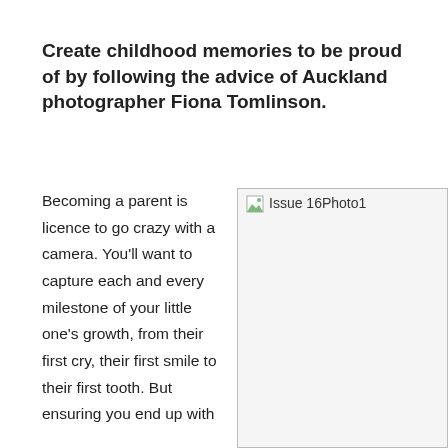Create childhood memories to be proud of by following the advice of Auckland photographer Fiona Tomlinson.
Becoming a parent is licence to go crazy with a camera. You'll want to capture each and every milestone of your little one's growth, from their first cry, their first smile to their first tooth. But ensuring you end up with
[Figure (photo): Placeholder image labeled 'Issue 16Photo1' with a broken image icon in the top left corner, displayed in a bordered box.]